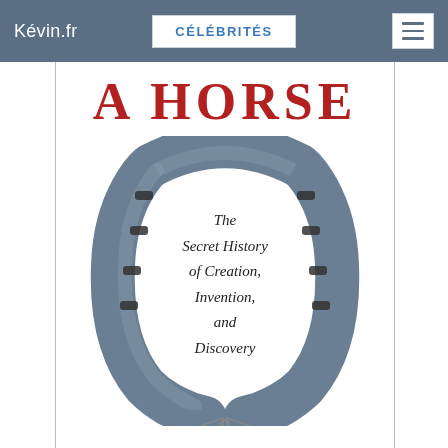Kévin.fr  CÉLÉBRITÉS
[Figure (illustration): Book cover showing a horseshoe with the title 'A HORSE' in red at the top and subtitle 'The Secret History of Creation, Invention, and Discovery' inside the horseshoe. A bow tie graphic is at the bottom.]
A HORSE
The Secret History of Creation, Invention, and Discovery